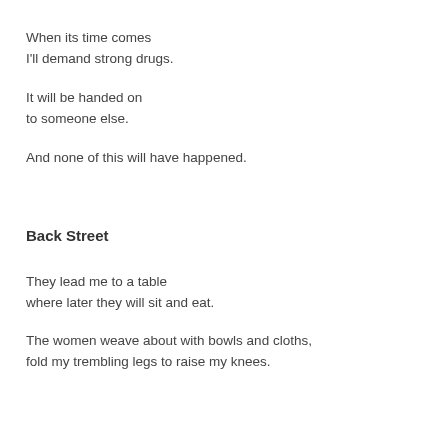When its time comes
I'll demand strong drugs.
It will be handed on
to someone else.
And none of this will have happened.
Back Street
They lead me to a table
where later they will sit and eat.
The women weave about with bowls and cloths,
fold my trembling legs to raise my knees.